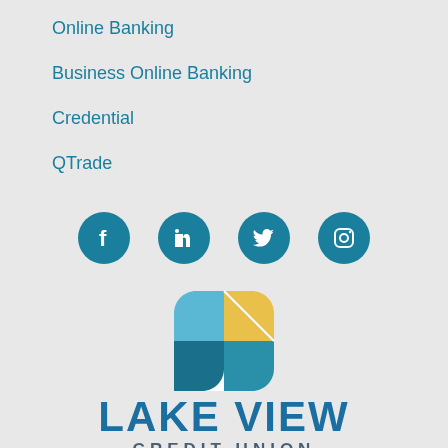Online Banking
Business Online Banking
Credential
QTrade
[Figure (infographic): Four social media icons in teal circles: Facebook, LinkedIn, Twitter, Instagram]
[Figure (logo): Lake View Credit Union logo with a teal and yellow square grid app icon above the text LAKE VIEW CREDIT UNION]